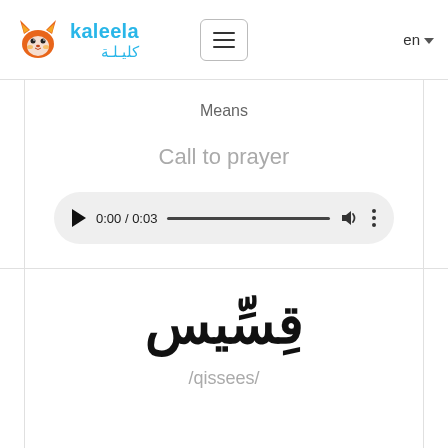[Figure (logo): Kaleela fox mascot logo with Arabic and English text]
Means
Call to prayer
[Figure (other): Audio player showing 0:00 / 0:03 with play button, progress bar, volume and more icons]
قِسِّيس
/qissees/